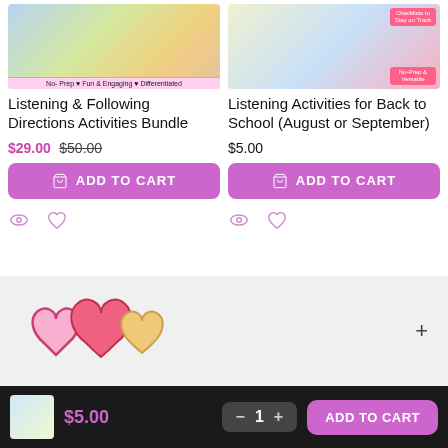[Figure (photo): Listening and Following Directions Activities Bundle product thumbnail showing worksheets and children learning]
Listening & Following Directions Activities Bundle
$29.00 $50.00
[Figure (photo): Listening Activities for Back to School (August or September) product thumbnail with checklists and no-prep badges]
Listening Activities for Back to School (August or September)
$5.00
[Figure (illustration): Three heart illustrations – pink outlined heart, pink filled heart, and peach/yellow heart]
$5.00
1